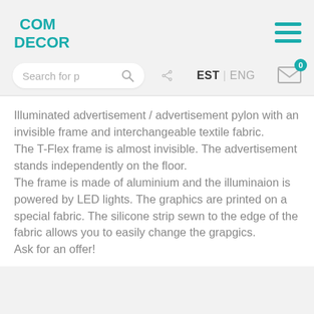[Figure (logo): COM DECOR logo in teal/cyan color, stacked two lines]
[Figure (other): Hamburger menu icon with three teal horizontal lines]
[Figure (other): Search box with placeholder 'Search for p' and search icon, share icon, EST|ENG language switcher, envelope icon with badge 0]
Illuminated advertisement / advertisement pylon with an invisible frame and interchangeable textile fabric.
The T-Flex frame is almost invisible. The advertisement stands independently on the floor.
The frame is made of aluminium and the illuminaion is powered by LED lights. The graphics are printed on a special fabric. The silicone strip sewn to the edge of the fabric allows you to easily change the grapgics.
Ask for an offer!